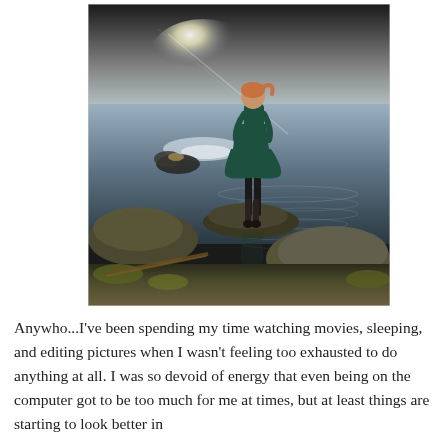[Figure (photo): A woman in a dark teal/green dress standing on a rock at the edge of a lake or pond. She is facing away from the camera. Bright sun glare reflects off the water. Rocks and grass are visible in the foreground. The scene has a moody, dramatic atmosphere with high contrast lighting.]
Anywho...I've been spending my time watching movies, sleeping, and editing pictures when I wasn't feeling too exhausted to do anything at all. I was so devoid of energy that even being on the computer got to be too much for me at times, but at least things are starting to look better in